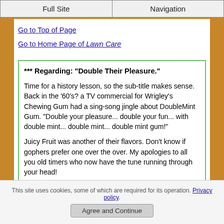Full Site | Navigation
Go to Top of Page
Go to Home Page of Lawn Care
*** Regarding: "Double Their Pleasure."

Time for a history lesson, so the sub-title makes sense. Back in the '60's? a TV commercial for Wrigley's Chewing Gum had a sing-song jingle about DoubleMint Gum. "Double your pleasure... double your fun... with double mint... double mint... double mint gum!"

Juicy Fruit was another of their flavors. Don't know if gophers prefer one over the over. My apologies to all you old timers who now have the tune running through your head!
This site uses cookies, some of which are required for its operation. Privacy policy. Agree and Continue